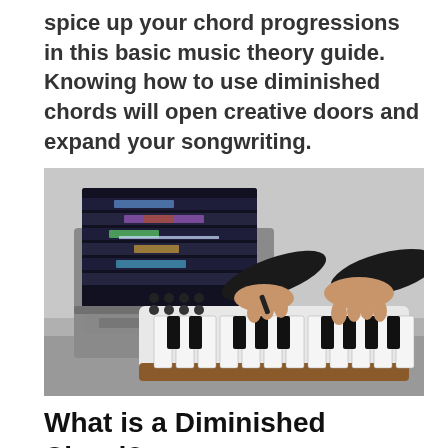spice up your chord progressions in this basic music theory guide. Knowing how to use diminished chords will open creative doors and expand your songwriting.
[Figure (photo): A person's hands playing a small MIDI keyboard/synthesizer with black and white keys and knobs, with a laptop open in the background showing a music production software (DAW), on a dark desk surface.]
What is a Diminished Chord?